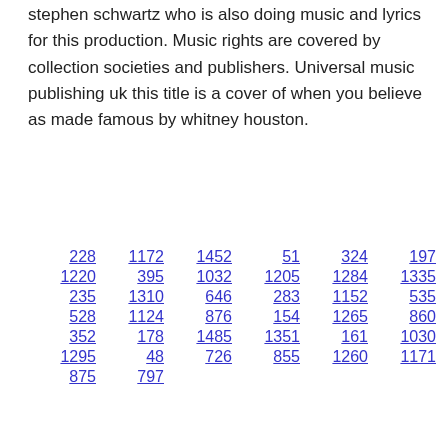stephen schwartz who is also doing music and lyrics for this production. Music rights are covered by collection societies and publishers. Universal music publishing uk this title is a cover of when you believe as made famous by whitney houston.
228  1172  1452  51  324  197
1220  395  1032  1205  1284  1335
235  1310  646  283  1152  535
528  1124  876  154  1265  860
352  178  1485  1351  161  1030
1295  48  726  855  1260  1171
875  797